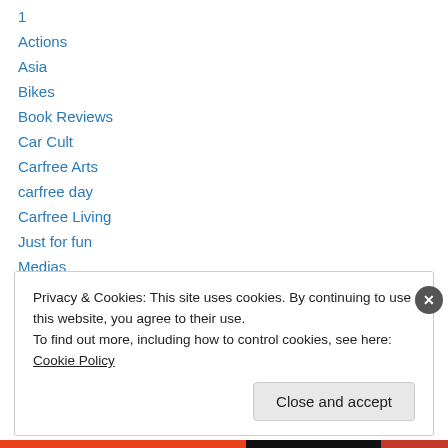1
Actions
Asia
Bikes
Book Reviews
Car Cult
Carfree Arts
carfree day
Carfree Living
Just for fun
Medias
News
Pollution
Privacy & Cookies: This site uses cookies. By continuing to use this website, you agree to their use. To find out more, including how to control cookies, see here: Cookie Policy
Close and accept